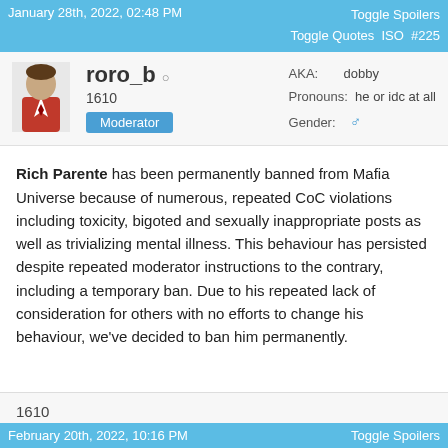January 28th, 2022, 02:48 PM | Toggle Spoilers Toggle Quotes ISO #225
roro_b 1610 Moderator | AKA: dobby | Pronouns: he or idc at all | Gender: ♂
Rich Parente has been permanently banned from Mafia Universe because of numerous, repeated CoC violations including toxicity, bigoted and sexually inappropriate posts as well as trivializing mental illness. This behaviour has persisted despite repeated moderator instructions to the contrary, including a temporary ban. Due to his repeated lack of consideration for others with no efforts to change his behaviour, we've decided to ban him permanently.
1610
Send PM
February 20th, 2022, 10:16 PM | Toggle Spoilers